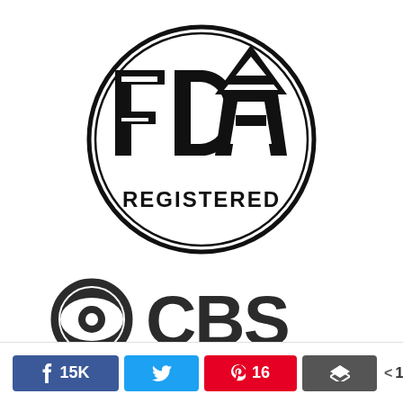[Figure (logo): FDA REGISTERED circular logo with double-ring border. Large block letters 'FDA' at top with a triangle/chevron shape above the 'A', and 'REGISTERED' in bold caps below.]
[Figure (logo): CBS eye logo: circular eye icon on the left followed by bold 'CBS' text in large dark letters.]
15K 16 15K SHARES